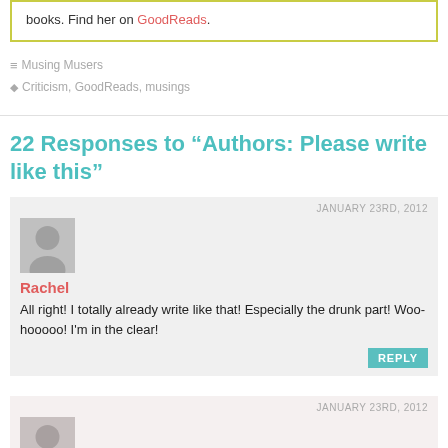books. Find her on GoodReads.
Musing Musers
Criticism, GoodReads, musings
22 Responses to “Authors: Please write like this”
JANUARY 23RD, 2012
Rachel
All right! I totally already write like that! Especially the drunk part! Woo-hooooo! I’m in the clear!
REPLY
JANUARY 23RD, 2012